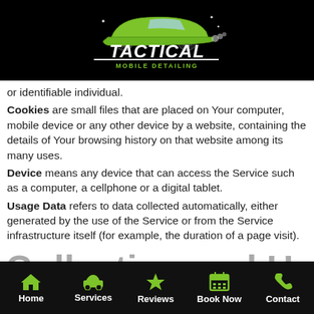Tactical Mobile Detailing logo
or identifiable individual.
Cookies are small files that are placed on Your computer, mobile device or any other device by a website, containing the details of Your browsing history on that website among its many uses.
Device means any device that can access the Service such as a computer, a cellphone or a digital tablet.
Usage Data refers to data collected automatically, either generated by the use of the Service or from the Service infrastructure itself (for example, the duration of a page visit).
Collecting and Using
Home  Services  Reviews  Book Now  Contact